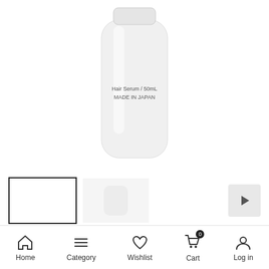[Figure (photo): White hair serum bottle with text 'Hair Serum / 50mL MADE IN JAPAN' printed on it, shown against white background]
[Figure (photo): Thumbnail of product image with border, and a video play button thumbnail to the right]
Miiulu Hair Serum F – Floral Feminine Fragrance – ONS
0 (0 Reviews)
Home  Category  Wishlist  Cart  Log in